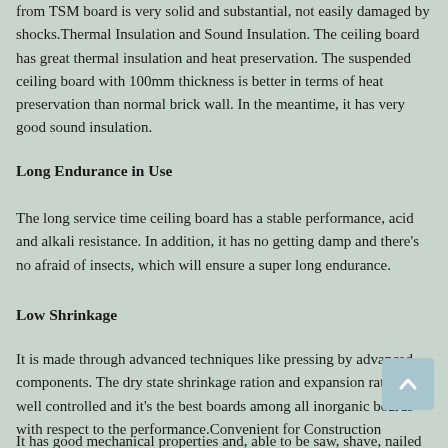from TSM board is very solid and substantial, not easily damaged by shocks.Thermal Insulation and Sound Insulation. The ceiling board has great thermal insulation and heat preservation. The suspended ceiling board with 100mm thickness is better in terms of heat preservation than normal brick wall. In the meantime, it has very good sound insulation.
Long Endurance in Use
The long service time ceiling board has a stable performance, acid and alkali resistance. In addition, it has no getting damp and there's no afraid of insects, which will ensure a super long endurance.
Low Shrinkage
It is made through advanced techniques like pressing by advanced components. The dry state shrinkage ration and expansion rate are well controlled and it's the best boards among all inorganic boards with respect to the performance.Convenient for Construction
It has good mechanical properties and, able to be saw, shave, nailed